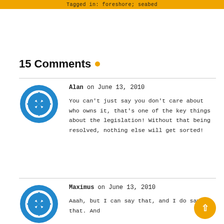Tagged in: foreshore; seabed
15 Comments
Alan on June 13, 2010
You can't just say you don't care about who owns it, that's one of the key things about the legislation! Without that being resolved, nothing else will get sorted!
Maximus on June 13, 2010
Aaah, but I can say that, and I do say that. And